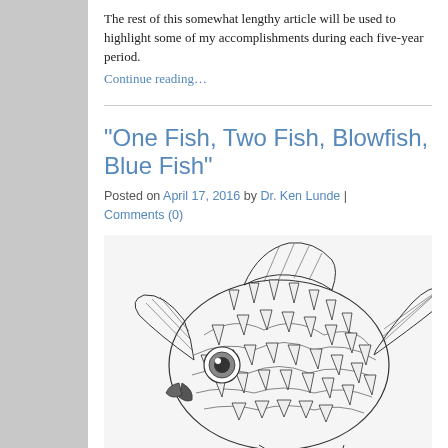The rest of this somewhat lengthy article will be used to highlight some of my accomplishments during each five-year period.
Continue reading…
“One Fish, Two Fish, Blowfish, Blue Fish”
Posted on April 17, 2016 by Dr. Ken Lunde | Comments (0)
[Figure (illustration): Detailed black and white pencil or ink illustration of a blowfish/pufferfish with spines, fins and an eye visible, shown in close-up profile view]